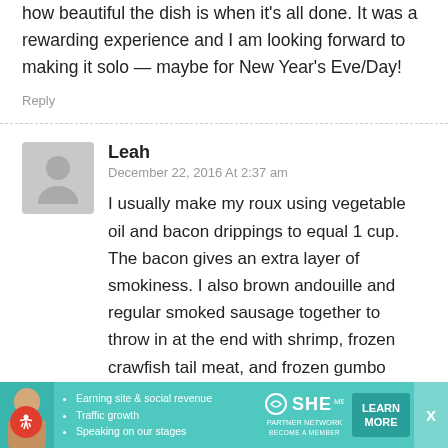how beautiful the dish is when it’s all done. It was a rewarding experience and I am looking forward to making it solo — maybe for New Year’s Eve/Day!
Reply
Leah
December 22, 2016 At 2:37 am
I usually make my roux using vegetable oil and bacon drippings to equal 1 cup. The bacon gives an extra layer of smokiness. I also brown andouille and regular smoked sausage together to throw in at the end with shrimp, frozen crawfish tail meat, and frozen gumbo crabs. I used to make a seafood stock with shrimp shells/tails, as
[Figure (infographic): SHE Partner Network advertisement banner with photo of woman, bullet points about earning site revenue, traffic growth, speaking on stages, SHE logo, and LEARN MORE button]